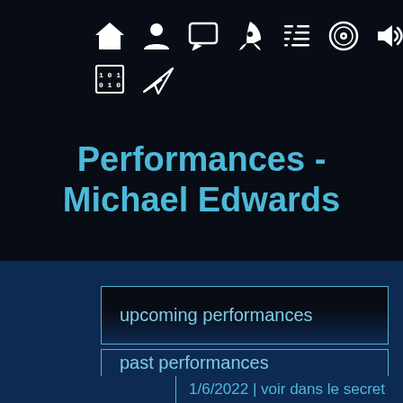[Figure (illustration): Navigation icons row 1: home, person/profile, chat bubble, rocket, music/list, vinyl record, speaker/sound. Row 2: binary/data icon, paper plane/send icon. All white icons on dark background.]
Performances - Michael Edwards
upcoming performances
past performances
1/6/2022 | voir dans le secret